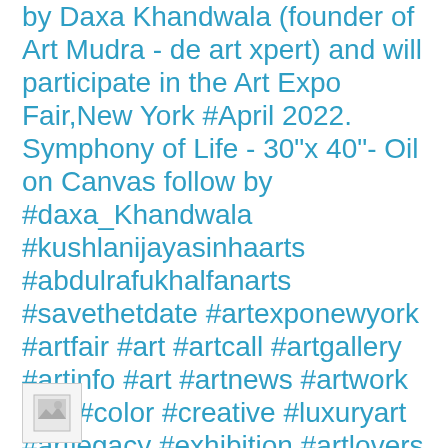by Daxa Khandwala (founder of Art Mudra - de art xpert) and will participate in the Art Expo Fair,New York #April 2022. Symphony of Life - 30"x 40"- Oil on Canvas follow by #daxa_Khandwala #kushlanijayasinhaarts #abdulrafukhalfanarts #savethetdate #artexponewyork #artfair #art #artcall #artgallery #artinfo #art #artnews #artwork #art #color #creative #luxuryart #artlegacy #exhibition #artlovers #artist #artforsale #paint #paintings #artcollectors #callforart #artcurators #artiseverywhere
[Figure (photo): Small thumbnail image icon at bottom left corner]